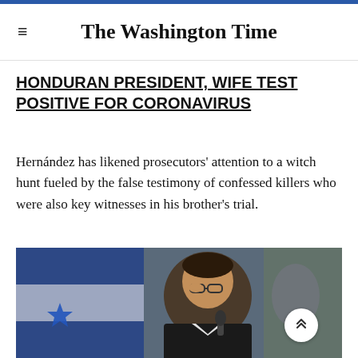The Washington Time
HONDURAN PRESIDENT, WIFE TEST POSITIVE FOR CORONAVIRUS
Hernández has likened prosecutors' attention to a witch hunt fueled by the false testimony of confessed killers who were also key witnesses in his brother's trial.
[Figure (photo): A man in a dark suit adjusting his glasses at a podium with microphone, with a blue and white Honduran flag in the background.]